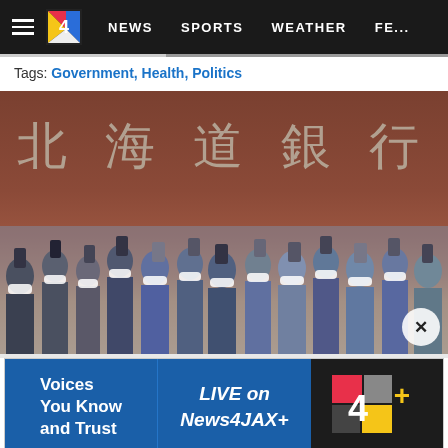≡ [4 logo] NEWS  SPORTS  WEATHER  FE...
Tags: Government, Health, Politics
[Figure (photo): Crowd of people wearing face masks holding up smartphones to photograph something, standing in front of a large building with Japanese characters reading 北海道銀行 (Hokkaido Bank)]
[Figure (infographic): Advertisement banner: 'Voices You Know and Trust — LIVE on News4JAX+' with News4JAX+ logo]